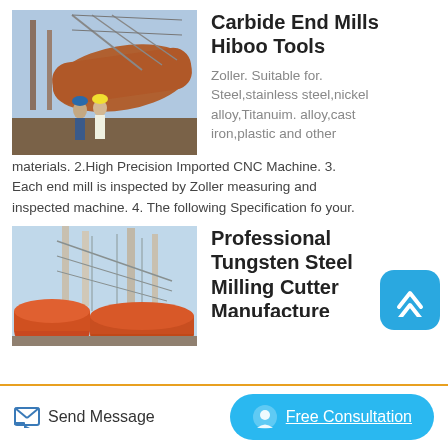[Figure (photo): Industrial construction site with large cylindrical pipes/drums and metal structure framework, two workers in hard hats standing in foreground]
Carbide End Mills Hiboo Tools
Zoller. Suitable for. Steel,stainless steel,nickel alloy,Titanuim. alloy,cast iron,plastic and other materials. 2.High Precision Imported CNC Machine. 3. Each end mill is inspected by Zoller measuring and inspected machine. 4. The following Specification fo your.
[Figure (photo): Industrial construction site with tall chimneys, metal lattice framework, and large orange cylindrical drums in foreground]
Professional Tungsten Steel Milling Cutter Manufacturer
Send Message
Free Consultation